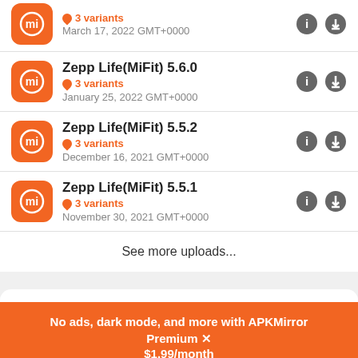Zepp Life(MiFit) 5.6.0 · 3 variants · January 25, 2022 GMT+0000
Zepp Life(MiFit) 5.5.2 · 3 variants · December 16, 2021 GMT+0000
Zepp Life(MiFit) 5.5.1 · 3 variants · November 30, 2021 GMT+0000
See more uploads...
No ads, dark mode, and more with APKMirror Premium × $1.99/month